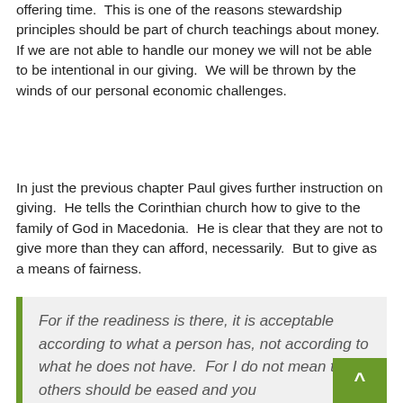offering time.  This is one of the reasons stewardship principles should be part of church teachings about money.  If we are not able to handle our money we will not be able to be intentional in our giving.  We will be thrown by the winds of our personal economic challenges.
In just the previous chapter Paul gives further instruction on giving.  He tells the Corinthian church how to give to the family of God in Macedonia.  He is clear that they are not to give more than they can afford, necessarily.  But to give as a means of fairness.
For if the readiness is there, it is acceptable according to what a person has, not according to what he does not have.  For I do not mean that others should be eased and you